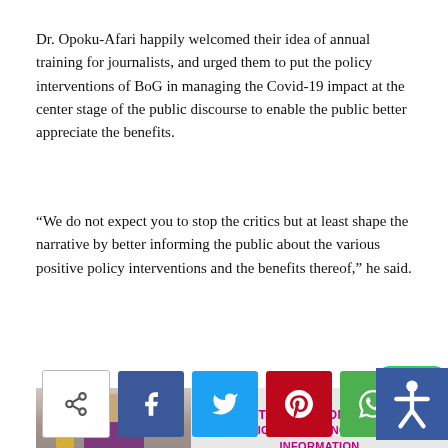Dr. Opoku-Afari happily welcomed their idea of annual training for journalists, and urged them to put the policy interventions of BoG in managing the Covid-19 impact at the center stage of the public discourse to enable the public better appreciate the benefits.
“We do not expect you to stop the critics but at least shape the narrative by better informing the public about the various positive policy interventions and the benefits thereof,” he said.
[Figure (infographic): Banner showing a man in a purple outfit holding a trophy, with text: OUTSTANDING CONTRIBUTION TO ICT REPORTING - GHANA INFORMATION TECHNOLOGY & TELECOM AWARDS, 2021]
[Figure (infographic): Social sharing bar with share, Facebook, Twitter, Pinterest, and WhatsApp buttons; accessibility button in top right; WhatsApp floating action button in bottom right]